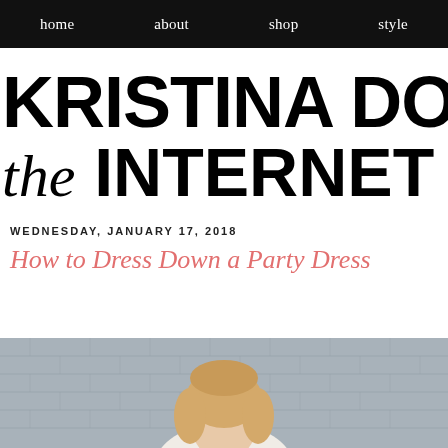home  about  shop  style
KRISTINA DOES the INTERNET
WEDNESDAY, JANUARY 17, 2018
How to Dress Down a Party Dress
[Figure (photo): Woman with blonde hair photographed from above, wearing a light-colored outfit, against a grey rooftop/shingle background]